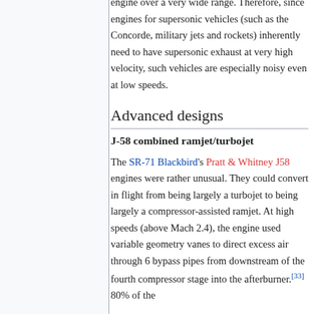engine over a very wide range. Therefore, since engines for supersonic vehicles (such as the Concorde, military jets and rockets) inherently need to have supersonic exhaust at very high velocity, such vehicles are especially noisy even at low speeds.
Advanced designs
J-58 combined ramjet/turbojet
The SR-71 Blackbird's Pratt & Whitney J58 engines were rather unusual. They could convert in flight from being largely a turbojet to being largely a compressor-assisted ramjet. At high speeds (above Mach 2.4), the engine used variable geometry vanes to direct excess air through 6 bypass pipes from downstream of the fourth compressor stage into the afterburner.[33] 80% of the